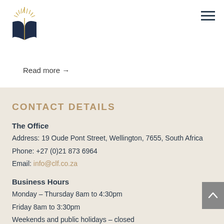[Figure (logo): Open book logo with sunburst rays above, dark navy blue cover]
Read more →
CONTACT DETAILS
The Office
Address: 19 Oude Pont Street, Wellington, 7655, South Africa
Phone: +27 (0)21 873 6964
Email: info@clf.co.za
Business Hours
Monday – Thursday 8am to 4:30pm
Friday 8am to 3:30pm
Weekends and public holidays – closed